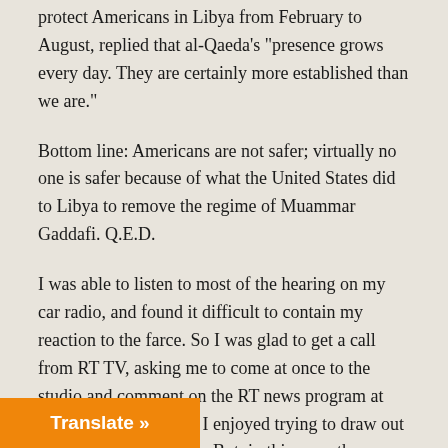protect Americans in Libya from February to August, replied that al-Qaeda's "presence grows every day. They are certainly more established than we are."
Bottom line: Americans are not safer; virtually no one is safer because of what the United States did to Libya to remove the regime of Muammar Gaddafi. Q.E.D.
I was able to listen to most of the hearing on my car radio, and found it difficult to contain my reaction to the farce. So I was glad to get a call from RT TV, asking me to come at once to the studio and comment on the RT news program at 5:00 p.m. I cannot say I enjoyed trying to draw out the dreary implications. But, in this case, they were clear enough to enable "instant analysis." And those ten minutes on camera were, for me, like lancing a boil.
Dead Consciences
We are told we should not speak ill of the dead. Dead consciences, though, are fair game. In my view, the U.S. Secretary of State did ... morning after the killing of four of her employees,